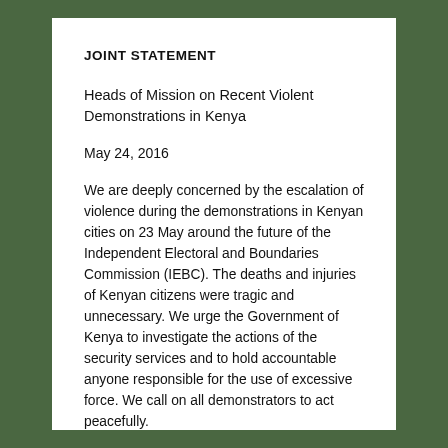JOINT STATEMENT
Heads of Mission on Recent Violent Demonstrations in Kenya
May 24, 2016
We are deeply concerned by the escalation of violence during the demonstrations in Kenyan cities on 23 May around the future of the Independent Electoral and Boundaries Commission (IEBC). The deaths and injuries of Kenyan citizens were tragic and unnecessary. We urge the Government of Kenya to investigate the actions of the security services and to hold accountable anyone responsible for the use of excessive force. We call on all demonstrators to act peacefully.
Violence will not resolve the issues regarding the future of the IEBC or ensure the 2017 elections are free and credible. We strongly urge all Kenyans to come together to de-escalate the situation and to resolve their...